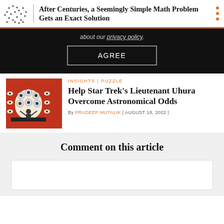After Centuries, a Seemingly Simple Math Problem Gets an Exact Solution
about our privacy policy.
AGREE
[Figure (illustration): Red illustrated image showing a figure with arms raised in front of an arched doorway, surrounded by eyes and human silhouettes in circles]
INSIGHTS | PUZZLE
Help Star Trek’s Lieutenant Uhura Overcome Astronomical Odds
By PRADEEP MUTALIK | AUGUST 18, 2022 |
Comment on this article